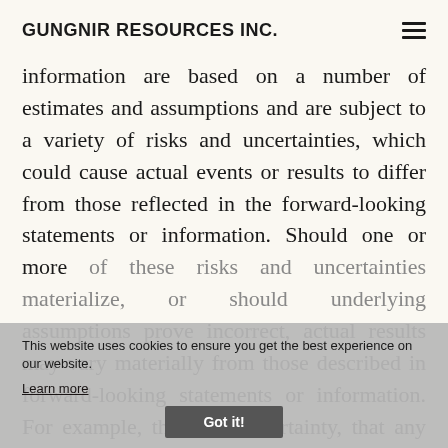GUNGNIR RESOURCES INC.
information are based on a number of estimates and assumptions and are subject to a variety of risks and uncertainties, which could cause actual events or results to differ from those reflected in the forward-looking statements or information. Should one or more of these risks and uncertainties materialize, or should underlying assumptions prove incorrect, actual results may vary materially from those described in forward-looking statements or information. For example, there is no certainty, that any economically viable mineral deposit will be
This website uses cookies to ensure you get the best experience on our website.
Learn more
Got it!